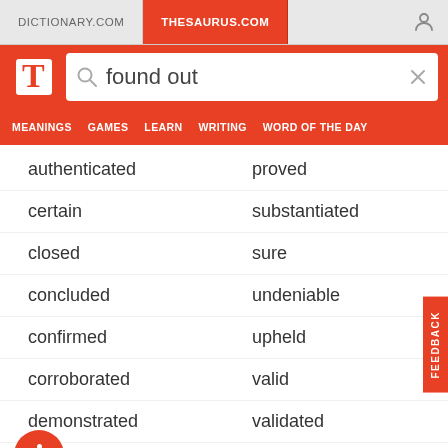DICTIONARY.COM | THESAURUS.COM
[Figure (screenshot): Thesaurus.com search bar with 'found out' query]
MEANINGS  GAMES  LEARN  WRITING  WORD OF THE DAY
authenticated
proved
certain
substantiated
closed
sure
concluded
undeniable
confirmed
upheld
corroborated
valid
demonstrated
validated
determined
verified